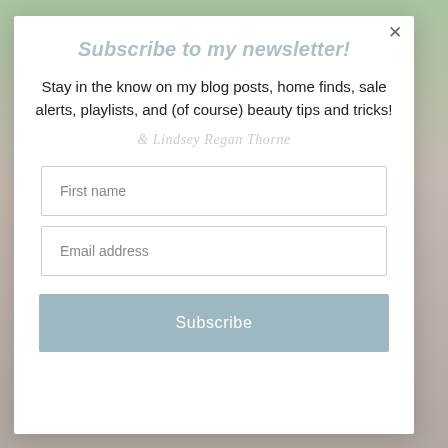[Figure (screenshot): Background photo showing tropical leaf pattern in green and pink tones, partially visible behind the modal overlay.]
Subscribe to my newsletter!
Stay in the know on my blog posts, home finds, sale alerts, playlists, and (of course) beauty tips and tricks!
& Lindsey Regan Thorne
First name
Email address
Subscribe